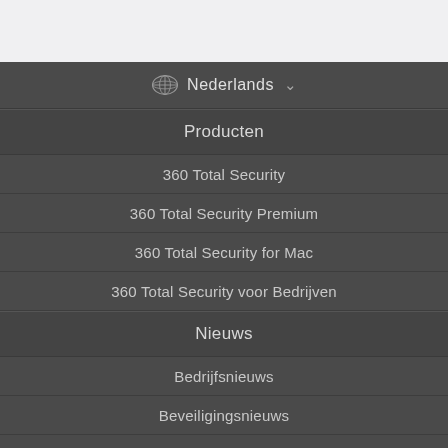[Figure (screenshot): Navigation menu screenshot with language selector and menu items]
Nederlands
Producten
360 Total Security
360 Total Security Premium
360 Total Security for Mac
360 Total Security voor Bedrijven
Nieuws
Bedrijfsnieuws
Beveiligingsnieuws
Press Kit